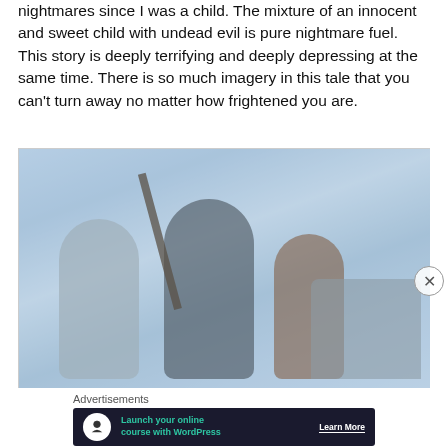nightmares since I was a child.  The mixture of an innocent and sweet child with undead evil is pure nightmare fuel.  This story is deeply terrifying and deeply depressing at the same time.  There is so much imagery in this tale that you can't turn away no matter how frightened you are.
[Figure (photo): A misty/foggy scene showing three people (a woman on the left, a man in the center holding a long pole/bat raised, and a child on the right) running or moving urgently. A vehicle is visible on the right side. The scene is heavily shrouded in blue-grey mist.]
Advertisements
[Figure (infographic): Advertisement banner with dark navy background. Contains a white circle icon with a tree/person graphic, green text reading 'Launch your online course with WordPress', and a white 'Learn More' button with underline.]